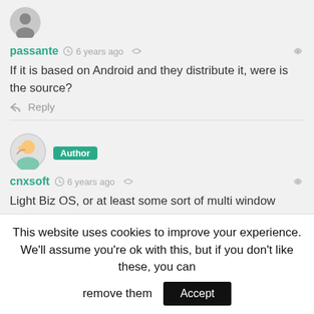[Figure (illustration): Grey circular avatar icon with generic user silhouette]
passante  6 years ago
If it is based on Android and they distribute it, were is the source?
Reply
[Figure (illustration): Circular avatar with colorful user image and Author badge]
cnxsoft  6 years ago
Light Biz OS, or at least some sort of multi window support, is in the latest Ugoos Android 5.1 beta firmware for their RK3288 TV boxes @ http://ugoos.net/blog/rk3288-ut3-um3-beta-android-lollipon-5-1-firmware-v3-0-2b-lighthiz-etc
This website uses cookies to improve your experience. We'll assume you're ok with this, but if you don't like these, you can remove them
Accept